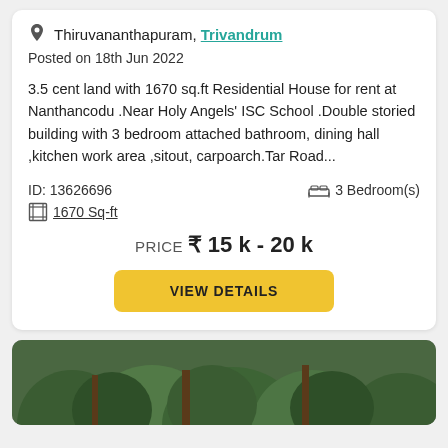Thiruvananthapuram, Trivandrum
Posted on 18th Jun 2022
3.5 cent land with 1670 sq.ft Residential House for rent at Nanthancodu .Near Holy Angels' ISC School .Double storied building with 3 bedroom attached bathroom, dining hall ,kitchen work area ,sitout, carpoarch.Tar Road...
ID: 13626696
3 Bedroom(s)
1670 Sq-ft
PRICE  ₹ 15 k - 20 k
VIEW DETAILS
[Figure (photo): Outdoor photo showing green foliage and trees, partially visible at the bottom of the page.]